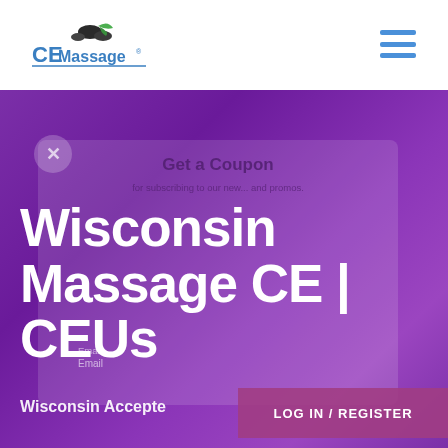[Figure (logo): CEMassage logo with text and massage stone icon]
[Figure (illustration): Hamburger menu icon (three horizontal blue lines)]
[Figure (screenshot): Purple gradient hero section background]
Get a Coupon
for subscribing to our new... and promos.
Wisconsin Massage CE | CEUs
Email
Wisconsin Accepted
LOG IN / REGISTER